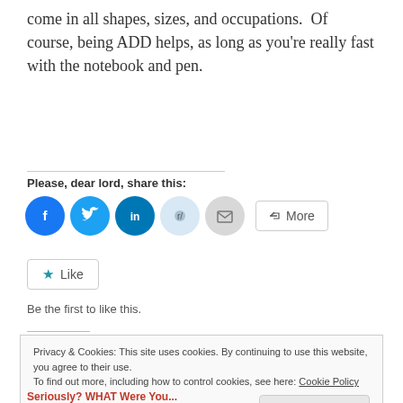come in all shapes, sizes, and occupations.  Of course, being ADD helps, as long as you're really fast with the notebook and pen.
Please, dear lord, share this:
[Figure (other): Social share buttons: Facebook, Twitter, LinkedIn, Reddit, Email, More]
[Figure (other): Like button with star icon]
Be the first to like this.
Privacy & Cookies: This site uses cookies. By continuing to use this website, you agree to their use.
To find out more, including how to control cookies, see here: Cookie Policy
Close and accept
Seriously? WHAT Were You...